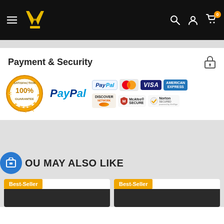Navigation header with hamburger menu, logo, search, account, and cart icons
[Figure (infographic): Payment & Security section with 100% Satisfaction Guarantee badge, PayPal logo, PayPal payment icon, MasterCard, VISA, American Express, Discover Network, McAfee SECURE, and Norton Secured by VeriSign badges]
Payment & Security
YOU MAY ALSO LIKE
Best-Seller
Best-Seller